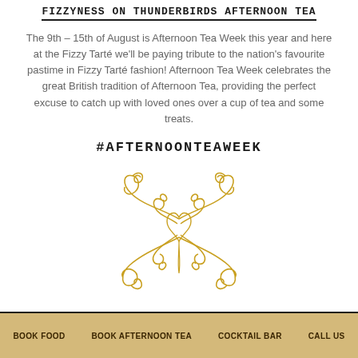FIZZYNESS ON THUNDERBIRDS AFTERNOON TEA
The 9th – 15th of August is Afternoon Tea Week this year and here at the Fizzy Tarté we'll be paying tribute to the nation's favourite pastime in Fizzy Tarté fashion! Afternoon Tea Week celebrates the great British tradition of Afternoon Tea, providing the perfect excuse to catch up with loved ones over a cup of tea and some treats.
#AFTERNOONTEAWEEK
[Figure (illustration): Decorative golden ornamental flourish / floral swirl design, symmetrical, in gold/yellow tones on white background]
BOOK FOOD   BOOK AFTERNOON TEA   COCKTAIL BAR   CALL US